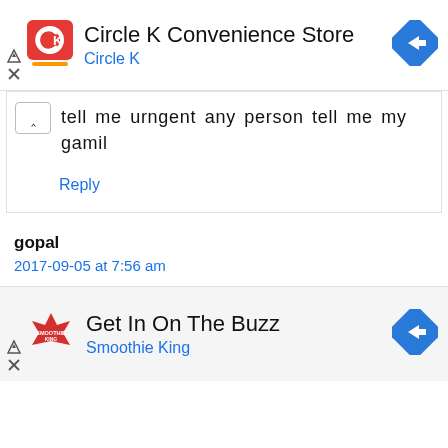[Figure (screenshot): Circle K Convenience Store ad banner with red/orange Circle K logo, navigation arrow icon, and side icons]
tell me urngent any person tell me my gamil
Reply
gopal
2017-09-05 at 7:56 am
[Figure (screenshot): Smoothie King 'Get In On The Buzz' ad banner with Smoothie King logo, navigation arrow icon, and side icons]